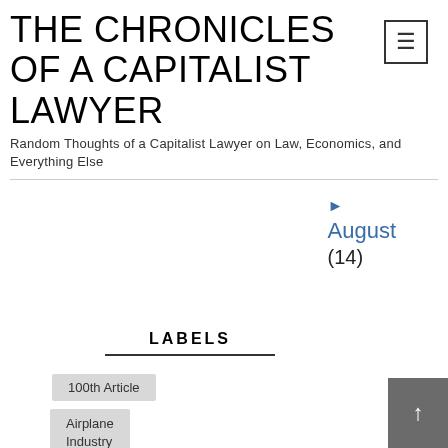THE CHRONICLES OF A CAPITALIST LAWYER
Random Thoughts of a Capitalist Lawyer on Law, Economics, and Everything Else
▶ August (14)
LABELS
100th Article
Airplane Industry